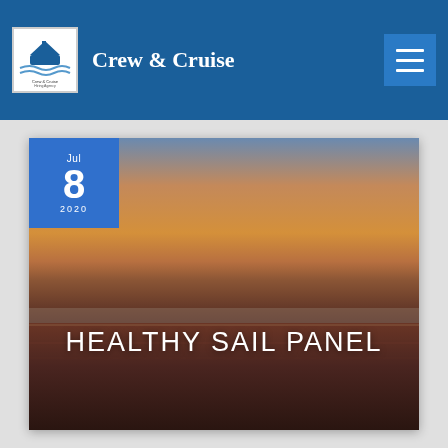Crew & Cruise
[Figure (photo): Crew & Cruise Hiring Agency logo — a cruise ship graphic above wavy lines with small text]
[Figure (photo): Sunset over the ocean — warm orange and brown gradient sky above dark water horizon, with text overlay 'HEALTHY SAIL PANEL' and a blue date badge showing 'Jul 8 2020']
HEALTHY SAIL PANEL